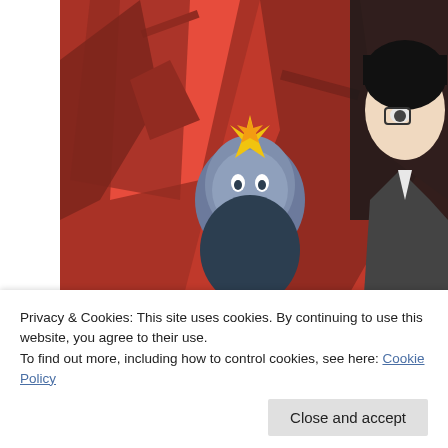[Figure (illustration): Anime-style video game artwork featuring characters from Persona 5 – a cat mascot character in the center wearing a crown-like star ornament, a red-clad figure on the left, and a dark-haired character on the right, set against a bold red geometric background.]
Beneath the Mask: What Makes a Great Video Game Soundtrack?
CouchSoup
[Figure (photo): Outdoor photo showing a person with grey hair in the lower portion, green trees and grass in the background.]
Privacy & Cookies: This site uses cookies. By continuing to use this website, you agree to their use.
To find out more, including how to control cookies, see here: Cookie Policy
Close and accept